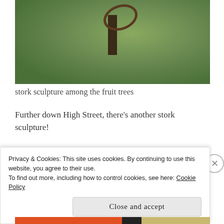[Figure (photo): Outdoor photo of a garden area with green grass, wire structures, bare branches, and what appears to be a stork sculpture made of metal, with soil mounds and plants visible]
stork sculpture among the fruit trees
Further down High Street, there’s another stork sculpture!
[Figure (photo): Partially visible photo with grey/overcast sky background, lower portion obscured by cookie consent banner]
Privacy & Cookies: This site uses cookies. By continuing to use this website, you agree to their use.
To find out more, including how to control cookies, see here: Cookie Policy
Close and accept